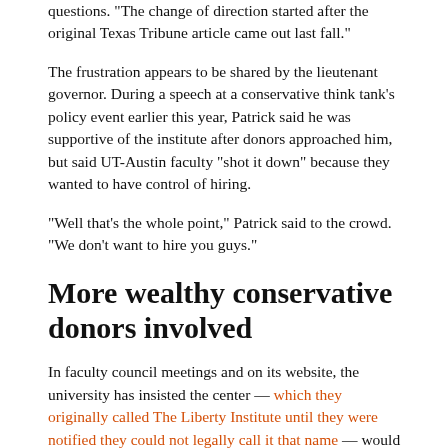questions. "The change of direction started after the original Texas Tribune article came out last fall."
The frustration appears to be shared by the lieutenant governor. During a speech at a conservative think tank's policy event earlier this year, Patrick said he was supportive of the institute after donors approached him, but said UT-Austin faculty "shot it down" because they wanted to have control of hiring.
“Well that’s the whole point,” Patrick said to the crowd. “We don’t want to hire you guys.”
More wealthy conservative donors involved
In faculty council meetings and on its website, the university has insisted the center — which they originally called The Liberty Institute until they were notified they could not legally call it that name — would help support and attract faculty. And university officials have given no public sign that their vision has changed.
On a web page about the program last updated in January, the university states that it hopes to support three to five new